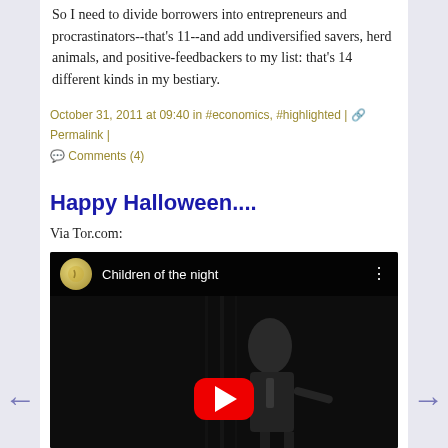So I need to divide borrowers into entrepreneurs and procrastinators--that's 11--and add undiversified savers, herd animals, and positive-feedbackers to my list: that's 14 different kinds in my bestiary.
October 31, 2011 at 09:40 in #economics, #highlighted | Permalink | Comments (4)
Happy Halloween....
Via Tor.com:
[Figure (screenshot): YouTube video thumbnail showing 'Children of the night' with a black and white image of a man in a tuxedo, a red YouTube play button in the center, and the YouTube logo/channel icon in the top left.]